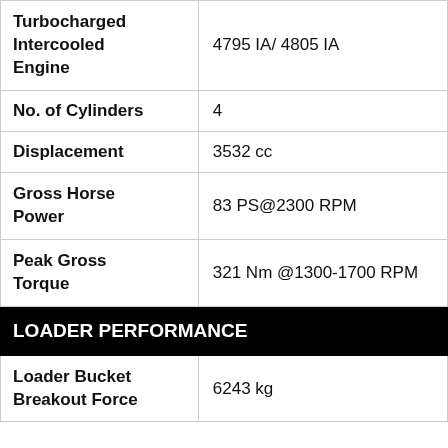| Specification | Value |
| --- | --- |
| Turbocharged Intercooled Engine | 4795 IA/ 4805 IA |
| No. of Cylinders | 4 |
| Displacement | 3532 cc |
| Gross Horse Power | 83 PS@2300 RPM |
| Peak Gross Torque | 321 Nm @1300-1700 RPM |
| LOADER PERFORMANCE |  |
| Loader Bucket Breakout Force | 6243 kg |